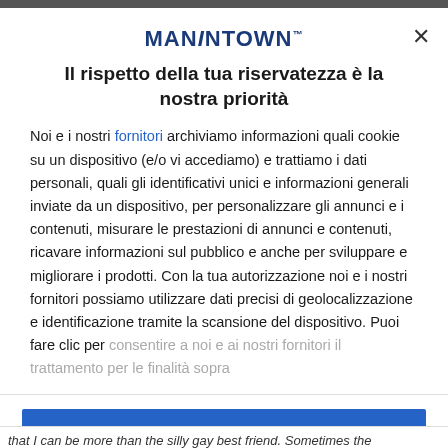[Figure (logo): MANINTOWN logo with trademark symbol]
Il rispetto della tua riservatezza è la nostra priorità
Noi e i nostri fornitori archiviamo informazioni quali cookie su un dispositivo (e/o vi accediamo) e trattiamo i dati personali, quali gli identificativi unici e informazioni generali inviate da un dispositivo, per personalizzare gli annunci e i contenuti, misurare le prestazioni di annunci e contenuti, ricavare informazioni sul pubblico e anche per sviluppare e migliorare i prodotti. Con la tua autorizzazione noi e i nostri fornitori possiamo utilizzare dati precisi di geolocalizzazione e identificazione tramite la scansione del dispositivo. Puoi fare clic per consentire a noi e ai nostri fornitori il trattamento per le finalità sopra
ACCETTA TUTTI
PIÙ OPZIONI
that I can be more than the silly gay best friend. Sometimes the